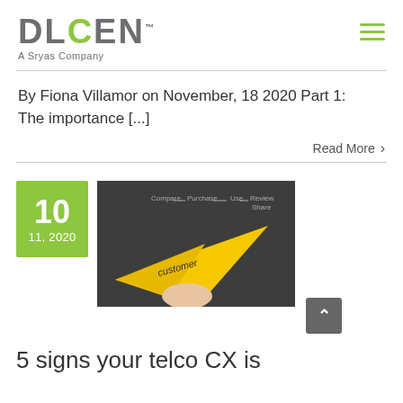DUCEN™ A Sryas Company
By Fiona Villamor on November, 18 2020 Part 1: The importance [...]
Read More >
[Figure (photo): Date box showing 10, 11, 2020 in green, beside a photo of a hand holding a yellow paper airplane with 'customer' written on it, against a dark chalkboard background with customer journey words]
5 signs your telco CX is